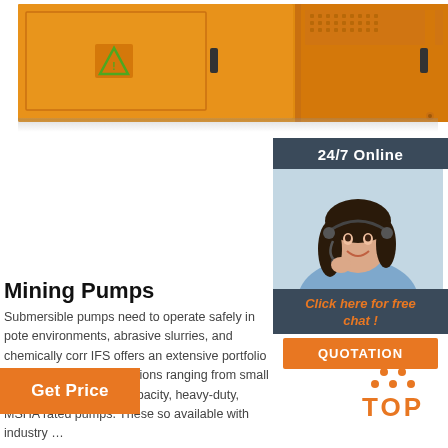[Figure (photo): Orange industrial electrical cabinet/switchgear panel against white background]
[Figure (infographic): 24/7 Online chat widget with dark blue background, female customer service representative wearing headset, orange 'Click here for free chat!' link, and orange QUOTATION button]
Mining Pumps
Submersible pumps need to operate safely in pote environments, abrasive slurries, and chemically corr IFS offers an extensive portfolio of mining and mine solutions ranging from small dewatering pumps to capacity, heavy-duty, MSHA rated pumps. These so available with industry ...
Get Price
[Figure (logo): TOP logo with orange dots arranged in triangle and orange bold text 'TOP']